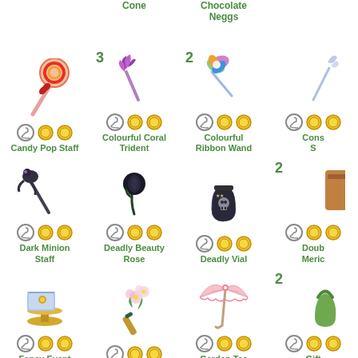Cone
Chocolate Neggs
[Figure (illustration): Candy Pop Staff item image]
Candy Pop Staff
[Figure (illustration): Colourful Coral Trident item image with badge 3]
Colourful Coral Trident
[Figure (illustration): Colourful Ribbon Wand item image with badge 2]
Colourful Ribbon Wand
Cons... S...
[Figure (illustration): Dark Minion Staff item image]
Dark Minion Staff
[Figure (illustration): Deadly Beauty Rose item image]
Deadly Beauty Rose
[Figure (illustration): Deadly Vial item image]
Deadly Vial
Doub... Meric...
[Figure (illustration): Fancy Event Invitation item image]
Fancy Event Invitation
[Figure (illustration): Flowering Hose item image]
Flowering Hose
[Figure (illustration): Garden Tea Parasol item image]
Garden Tea Parasol
Gift... Boke...